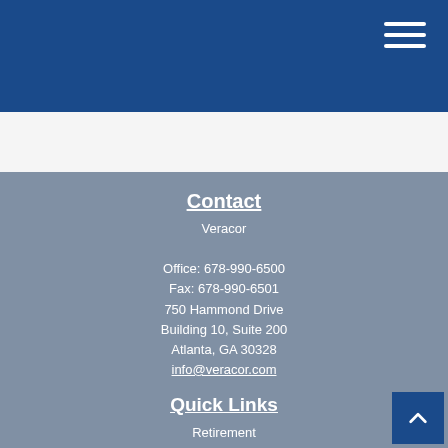[Figure (other): Blue navigation header bar with hamburger menu icon (three white horizontal lines) in the top right corner]
Contact
Veracor
Office: 678-990-6500
Fax: 678-990-6501
750 Hammond Drive
Building 10, Suite 200
Atlanta, GA 30328
info@veracor.com
Quick Links
Retirement
Investment
Estate